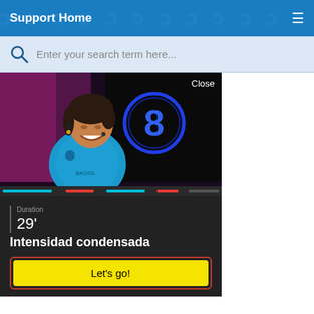Support Home
Enter your search term here...
[Figure (screenshot): Video player showing a woman in a blue BKOOL cycling jersey smiling, with a large blue neon '8' in the background and a 'Close' button in the top right corner. Progress bars visible at the bottom of the video.]
Duration
29'
Intensidad condensada
Let's go!